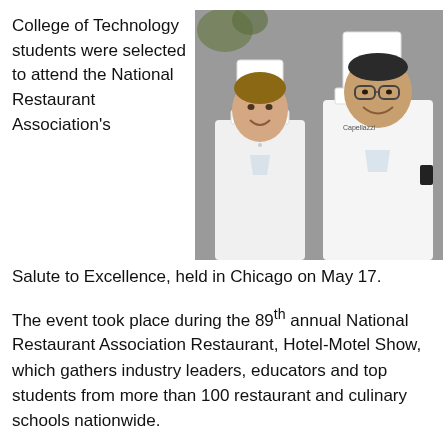College of Technology students were selected to attend the National Restaurant Association's Salute to Excellence, held in Chicago on May 17.
[Figure (photo): Two Penn College students in white chef uniforms and tall white chef hats, smiling, standing side by side against a gray background.]
The event took place during the 89th annual National Restaurant Association Restaurant, Hotel-Motel Show, which gathers industry leaders, educators and top students from more than 100 restaurant and culinary schools nationwide.
Penn College students Erin E. Brown, of Lock Haven, and Mark R. Capellazzi, of Rochester, N.Y., were chosen to attend, following a rigorous selection process by faculty